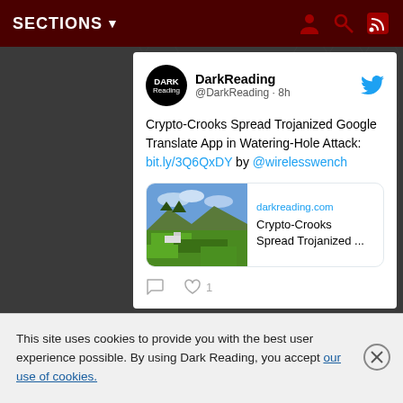SECTIONS ▼
[Figure (screenshot): Tweet from DarkReading (@DarkReading · 8h) about Crypto-Crooks Spread Trojanized Google Translate App in Watering-Hole Attack with link bit.ly/3Q6QxDY by @wirelesswench. Includes a link preview card from darkreading.com showing a landscape photo and the article title. Tweet has 0 comments and 1 like.]
This site uses cookies to provide you with the best user experience possible. By using Dark Reading, you accept our use of cookies.